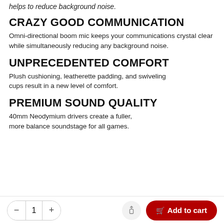helps to reduce background noise.
CRAZY GOOD COMMUNICATION
Omni-directional boom mic keeps your communications crystal clear while simultaneously reducing any background noise.
UNPRECEDENTED COMFORT
Plush cushioning, leatherette padding, and swiveling cups result in a new level of comfort.
PREMIUM SOUND QUALITY
40mm Neodymium drivers create a fuller, more balance soundstage for all games.